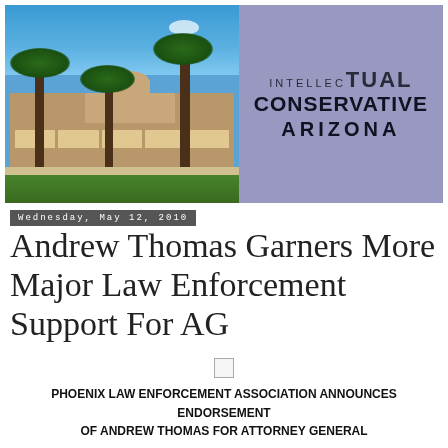[Figure (photo): Photo of Arizona State Capitol building with palm trees and blue sky, alongside Intellectual Conservative Arizona logo on purple/blue background]
Wednesday, May 12, 2010
Andrew Thomas Garners More Major Law Enforcement Support For AG
PHOENIX LAW ENFORCEMENT ASSOCIATION ANNOUNCES ENDORSEMENT OF ANDREW THOMAS FOR ATTORNEY GENERAL